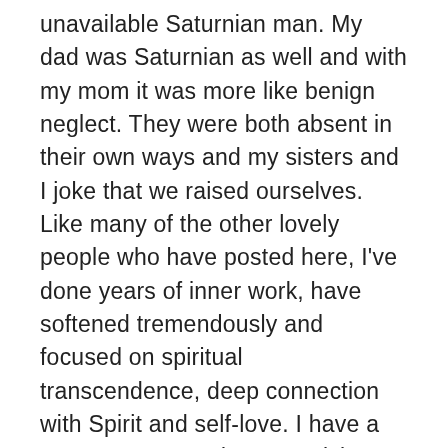unavailable Saturnian man. My dad was Saturnian as well and with my mom it was more like benign neglect. They were both absent in their own ways and my sisters and I joke that we raised ourselves. Like many of the other lovely people who have posted here, I've done years of inner work, have softened tremendously and focused on spiritual transcendence, deep connection with Spirit and self-love. I have a Cancer moon and Cancer rising which only wants to share an abundance of affection and love. I can't imagine not having a partner in my life again and yet I've gone 10 years without one, which blows me away. I have sun-conjunct venus (both in Gemini) so I do have a love for people and am pretty outgoing and friendly in